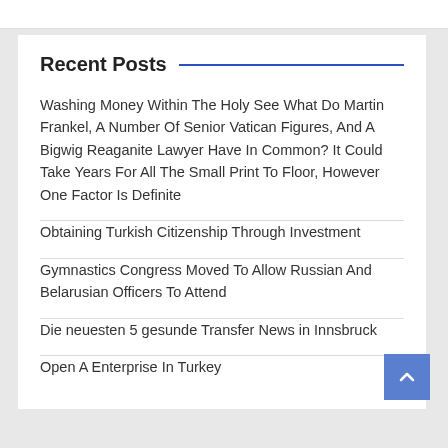Recent Posts
Washing Money Within The Holy See What Do Martin Frankel, A Number Of Senior Vatican Figures, And A Bigwig Reaganite Lawyer Have In Common? It Could Take Years For All The Small Print To Floor, However One Factor Is Definite
Obtaining Turkish Citizenship Through Investment
Gymnastics Congress Moved To Allow Russian And Belarusian Officers To Attend
Die neuesten 5 gesunde Transfer News in Innsbruck
Open A Enterprise In Turkey